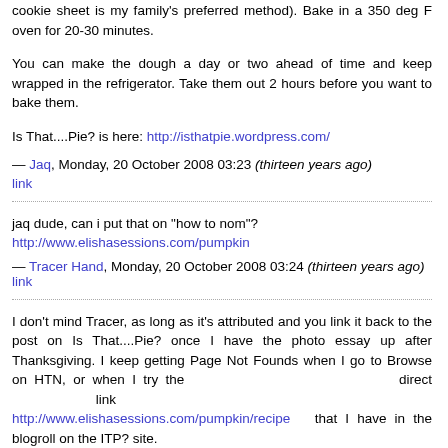rise in a buttered bowl until doubled in size. Punch down and make into rolls (roll out about 1/2" thick, cut into 2" circles and fold in half on cookie sheet is my family's preferred method). Bake in a 350 deg F oven for 20-30 minutes.
You can make the dough a day or two ahead of time and keep wrapped in the refrigerator. Take them out 2 hours before you want to bake them.
Is That....Pie? is here: http://isthatpie.wordpress.com/
— Jaq, Monday, 20 October 2008 03:23 (thirteen years ago) link
jaq dude, can i put that on "how to nom"? http://www.elishasessions.com/pumpkin
— Tracer Hand, Monday, 20 October 2008 03:24 (thirteen years ago) link
I don't mind Tracer, as long as it's attributed and you link it back to the post on Is That....Pie? once I have the photo essay up after Thanksgiving. I keep getting Page Not Founds when I go to Browse on HTN, or when I try the direct link http://www.elishasessions.com/pumpkin/recipe that I have in the blogroll on the ITP? site.